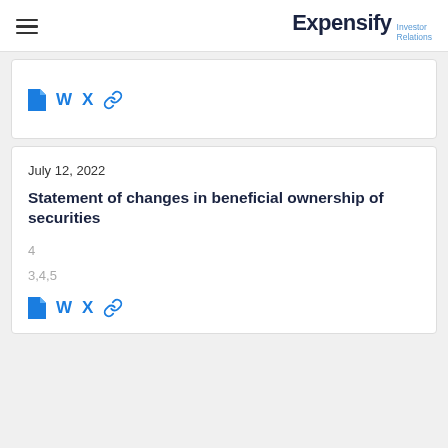Expensify Investor Relations
[Figure (screenshot): Card with file, W, X, and link icons (top card, partially visible)]
July 12, 2022
Statement of changes in beneficial ownership of securities
4
3,4,5
[Figure (screenshot): Icon row with file, W, X, and link icons]